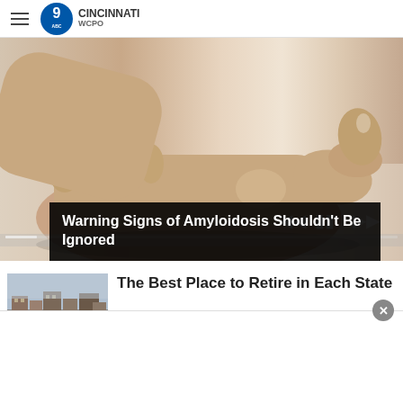WCPO 9 CINCINNATI
[Figure (photo): Close-up of hands massaging or examining an ankle/foot, light background. Video player with progress bar and playback controls visible.]
Warning Signs of Amyloidosis Shouldn't Be Ignored
[Figure (photo): Thumbnail image of a building/town streetscape for retirement article teaser.]
The Best Place to Retire in Each State